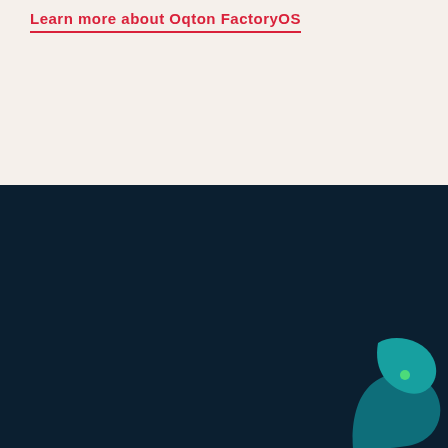Learn more about Oqton FactoryOS
News • Company • Contact us • Careers • AI Academy • Terms of Use • Privacy Policy • Cookie Po...
[Figure (logo): Oqton bird logo in teal on dark navy background, with a small green dot for the eye]